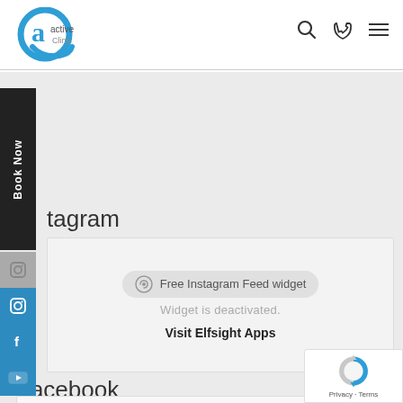[Figure (logo): Active Clinic logo: circular blue ring with stylized 'a' shape and 'active Clinic' text inside]
[Figure (other): Navigation icons: search (magnifying glass), phone, and hamburger menu on the right side of the header]
Book Now
tagram
[Figure (screenshot): Deactivated Elfsight Instagram Feed widget box showing 'Free Instagram Feed widget' badge and 'Widget is deactivated. Visit Elfsight Apps' text]
Facebook
[Figure (other): reCAPTCHA badge with Privacy and Terms links]